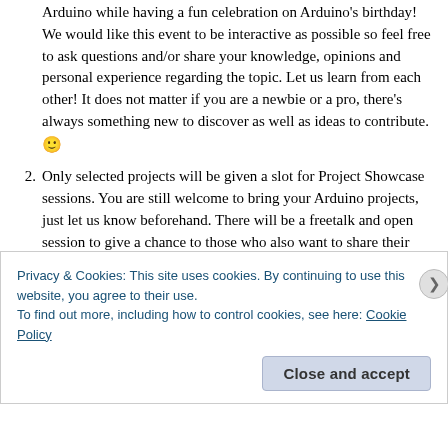We would like this event to be interactive as possible so feel free to ask questions and/or share your knowledge, opinions and personal experience regarding the topic. Let us learn from each other! It does not matter if you are a newbie or a pro, there's always something new to discover as well as ideas to contribute. 🙂
Only selected projects will be given a slot for Project Showcase sessions. You are still welcome to bring your Arduino projects, just let us know beforehand. There will be a freetalk and open session to give a chance to those who also want to share their projects or learnings about Arduino.
Privacy & Cookies: This site uses cookies. By continuing to use this website, you agree to their use. To find out more, including how to control cookies, see here: Cookie Policy
Close and accept